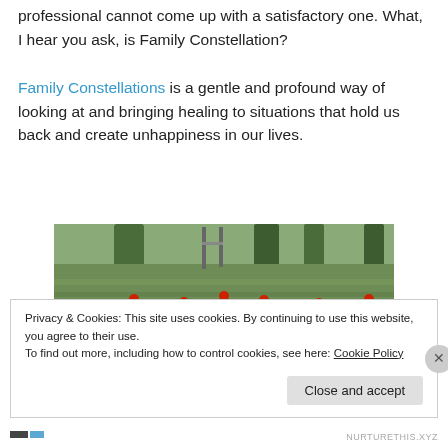professional cannot come up with a satisfactory one. What, I hear you ask, is Family Constellation?
Family Constellations is a gentle and profound way of looking at and bringing healing to situations that hold us back and create unhappiness in our lives.
[Figure (photo): A field of red poppies growing among green crops, photographed outdoors in sunlight.]
Fields of poppies in the sun at Breaithampton
Privacy & Cookies: This site uses cookies. By continuing to use this website, you agree to their use.
To find out more, including how to control cookies, see here: Cookie Policy
Close and accept